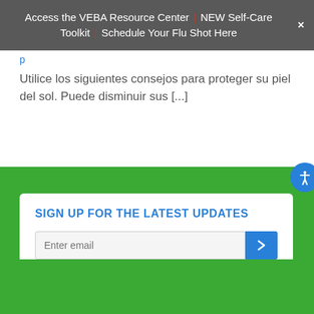Access the VEBA Resource Center | NEW Self-Care Toolkit | Schedule Your Flu Shot Here
Utilice los siguientes consejos para proteger su piel del sol. Puede disminuir sus [...]
SIGN UP FOR THE LATEST UPDATES
Enter email